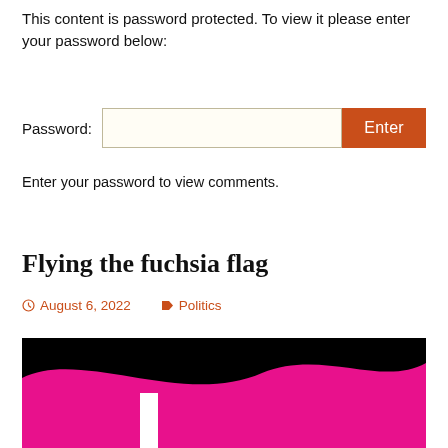This content is password protected. To view it please enter your password below:
Password: [input field] Enter
Enter your password to view comments.
Flying the fuchsia flag
August 6, 2022   Politics
[Figure (illustration): Image with black background and a fuchsia/magenta wavy flag shape with a white vertical stripe on the left side]